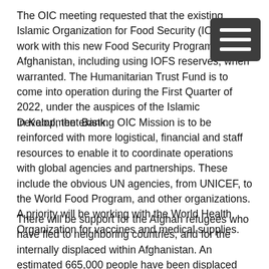The OIC meeting requested that the existing Islamic Organization for Food Security (IOFS) work with this new Food Security Program for Afghanistan, including using IOFS reserves, when warranted. The Humanitarian Trust Fund is to come into operation during the First Quarter of 2022, under the auspices of the Islamic Development Bank.
In Kabul, the existing OIC Mission is to be reinforced with more logistical, financial and staff resources to enable it to coordinate operations with global agencies and partnerships. These include the obvious UN agencies, from UNICEF, to the World Food Program, and other organizations. A priority will be working with the World Health Organization for vaccines and medical supplies.
There will be support for the Afghan refugees who have fled to neighboring countries, and for the internally displaced within Afghanistan. An estimated 665,000 people have been displaced just between January and September 2021, over and above the